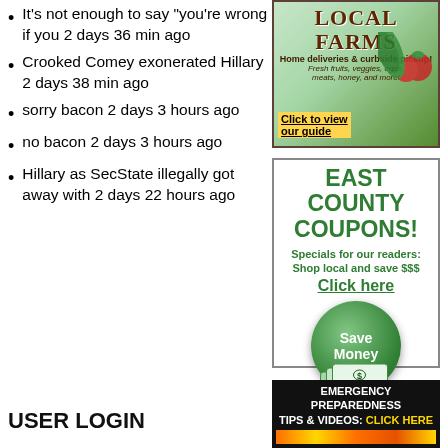It's not enough to say "you're wrong if you 2 days 36 min ago
Crooked Comey exonerated Hillary 2 days 38 min ago
sorry bacon 2 days 3 hours ago
no bacon 2 days 3 hours ago
Hillary as SecState illegally got away with 2 days 22 hours ago
USER LOGIN
[Figure (advertisement): LOCAL FARMS ad - Home deliveries & curbside pickup! Fresh fruits, veggies, eggs, meats, honey, and more! Click to view our guide.]
[Figure (advertisement): EAST COUNTY COUPONS! Specials for our readers: Shop local and save $$$. Click here. Save Money button with dollar bills graphic.]
[Figure (advertisement): EMERGENCY PREPAREDNESS TIPS & VIDEOS: CLICK HERE - black background with fire graphic]